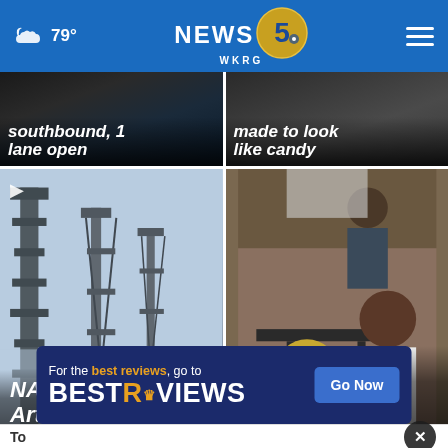79° NEWS 5 WKRG
southbound, 1 lane open
made to look like candy
[Figure (photo): Rocket launch tower / industrial structure - NASA Artemis I]
NASA will attempt Artemis I launch Saturday
[Figure (photo): People at outdoor restaurant, woman in hat and woman in white dress - Sacred Hart film]
Sacred Hart film, television series bringing inspiratio...
[Figure (infographic): BestReviews advertisement banner: For the best reviews, go to BESTREVIEWS. Go Now button.]
To